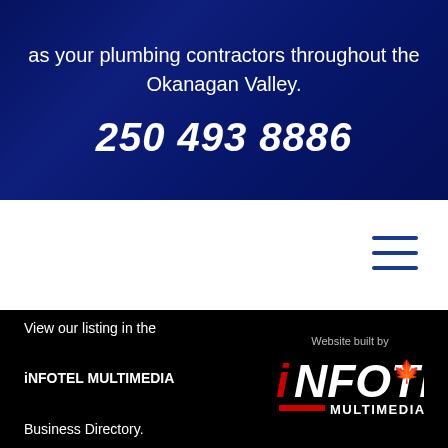as your plumbing contractors throughout the Okanagan Valley.
250 493 8886
[Figure (other): Hamburger menu icon with three horizontal blue lines on white background]
View our listing in the iNFOTEL MULTIMEDIA Business Directory.
[Figure (logo): iNFOTEL Multimedia logo with red i, white NFOTEL text, maple leaf icon, red bar, and MULTIMEDIA text. Above: Website built by]